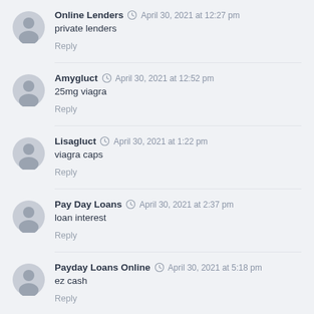Online Lenders · April 30, 2021 at 12:27 pm
private lenders
Reply
Amygluct · April 30, 2021 at 12:52 pm
25mg viagra
Reply
Lisagluct · April 30, 2021 at 1:22 pm
viagra caps
Reply
Pay Day Loans · April 30, 2021 at 2:37 pm
loan interest
Reply
Payday Loans Online · April 30, 2021 at 5:18 pm
ez cash
Reply
Getting A Loan · May 1, 2021 at 4:52 am